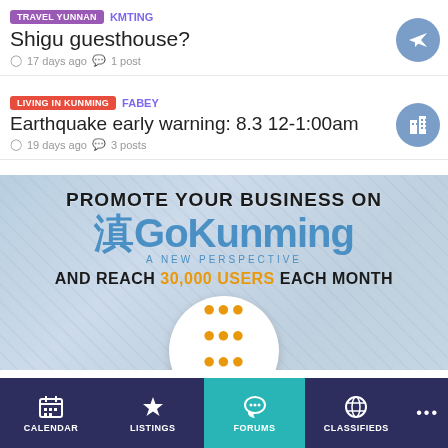TRAVEL YUNNAN | KMTING | Shigu guesthouse? | 17 days ago | 1 post
LIVING IN KUNMING | FABEY | Earthquake early warning: 8.3 12-1:00am | 19 days ago | 3 posts
[Figure (infographic): GoKunming advertisement banner: Promote your business on GoKunming - A New Perspective. And reach 30,000 users each month. Contact us today.]
CALENDAR | LISTINGS | FORUMS | CLASSIFIEDS | ...